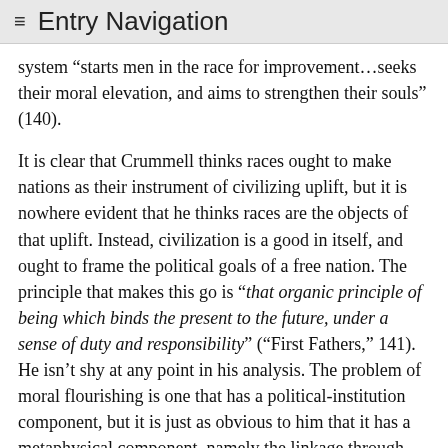≡ Entry Navigation
system “starts men in the race for improvement…seeks their moral elevation, and aims to strengthen their souls” (140).
It is clear that Crummell thinks races ought to make nations as their instrument of civilizing uplift, but it is nowhere evident that he thinks races are the objects of that uplift. Instead, civilization is a good in itself, and ought to frame the political goals of a free nation. The principle that makes this go is “that organic principle of being which binds the present to the future, under a sense of duty and responsibility” (“First Fathers,” 141). He isn’t shy at any point in his analysis. The problem of moral flourishing is one that has a political-institution component, but it is just as obvious to him that it has a metaphysical component, namely the linkage through time of human actions and how they bear on future effects. “According to the organization of our being,” he observes, “we are unable to confine ourselves to the mere brief period of life allotted us in this world. No man can through his life-actions, act simply for it” (141).